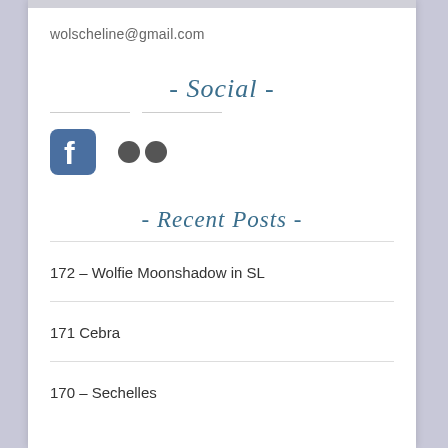wolscheline@gmail.com
- Social -
[Figure (illustration): Facebook logo icon and Flickr two-dot logo icon side by side]
- Recent Posts -
172 – Wolfie Moonshadow in SL
171 Cebra
170 – Sechelles